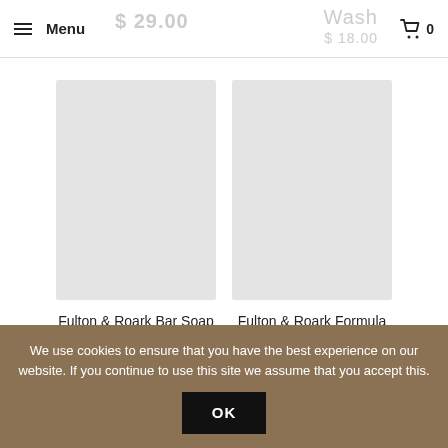Menu | 0
[Figure (photo): Product image placeholder - light gray rectangle for Fulton & Roark Bar Soap - Mahana]
Fulton & Roark Bar Soap - Mahana
$ 20.00
[Figure (photo): Product image placeholder - light gray rectangle for Fulton & Roark Formula 5 Oil - Mahana]
Fulton & Roark Formula 5 Oil - Mahana
$ 31.00
We use cookies to ensure that you have the best experience on our website. If you continue to use this site we assume that you accept this.